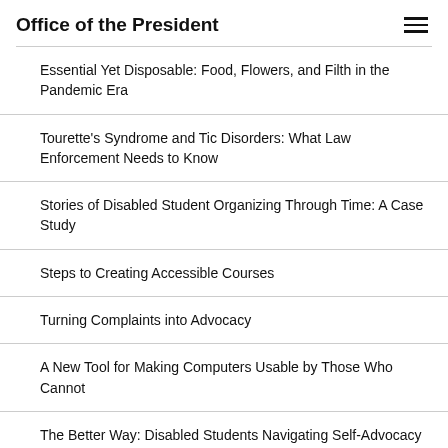Office of the President
Essential Yet Disposable: Food, Flowers, and Filth in the Pandemic Era
Tourette's Syndrome and Tic Disorders: What Law Enforcement Needs to Know
Stories of Disabled Student Organizing Through Time: A Case Study
Steps to Creating Accessible Courses
Turning Complaints into Advocacy
A New Tool for Making Computers Usable by Those Who Cannot
The Better Way: Disabled Students Navigating Self-Advocacy in Postsecondary Education